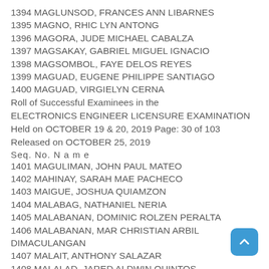1394 MAGLUNSOD, FRANCES ANN LIBARNES
1395 MAGNO, RHIC LYN ANTONG
1396 MAGORA, JUDE MICHAEL CABALZA
1397 MAGSAKAY, GABRIEL MIGUEL IGNACIO
1398 MAGSOMBOL, FAYE DELOS REYES
1399 MAGUAD, EUGENE PHILIPPE SANTIAGO
1400 MAGUAD, VIRGIELYN CERNA
Roll of Successful Examinees in the ELECTRONICS ENGINEER LICENSURE EXAMINATION Held on OCTOBER 19 & 20, 2019 Page: 30 of 103 Released on OCTOBER 25, 2019
Seq. No. N a m e
1401 MAGULIMAN, JOHN PAUL MATEO
1402 MAHINAY, SARAH MAE PACHECO
1403 MAIGUE, JOSHUA QUIAMZON
1404 MALABAG, NATHANIEL NERIA
1405 MALABANAN, DOMINIC ROLZEN PERALTA
1406 MALABANAN, MAR CHRISTIAN ARBIL DIMACULANGAN
1407 MALAIT, ANTHONY SALAZAR
1408 MALALAD, JARED ALDWIN QUINTOS